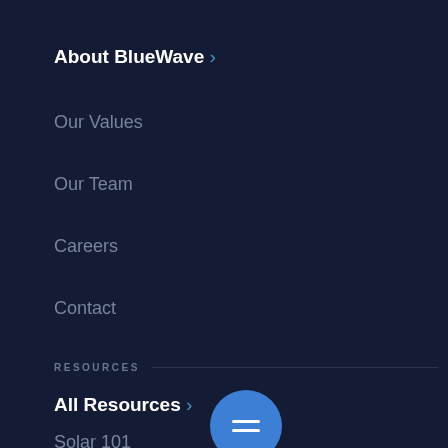About BlueWave >
Our Values
Our Team
Careers
Contact
RESOURCES
All Resources >
Solar 101
Green Living